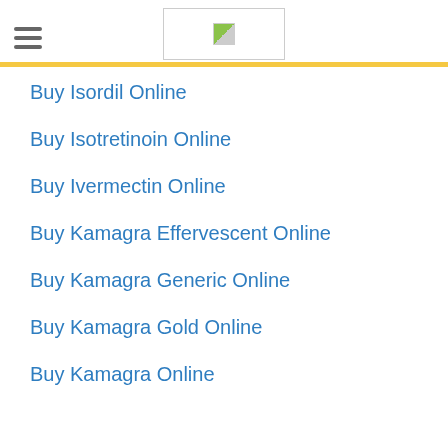Buy Isordil Online
Buy Isotretinoin Online
Buy Ivermectin Online
Buy Kamagra Effervescent Online
Buy Kamagra Generic Online
Buy Kamagra Gold Online
Buy Kamagra Online